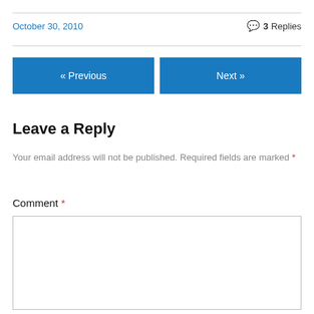October 30, 2010
3 Replies
« Previous
Next »
Leave a Reply
Your email address will not be published. Required fields are marked *
Comment *